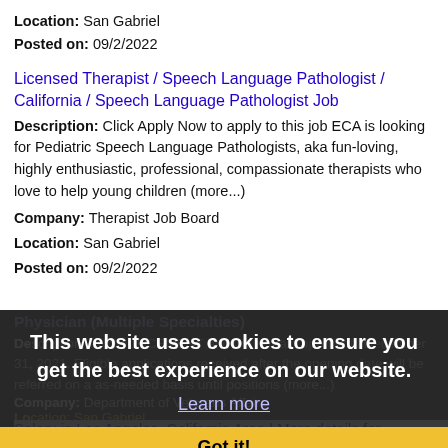Location: San Gabriel
Posted on: 09/2/2022
Licensed Therapist / Speech Language Pathologist / California / Speech Language Pathologist Job
Description: Click Apply Now to apply to this job ECA is looking for Pediatric Speech Language Pathologists, aka fun-loving, highly enthusiastic, professional, compassionate therapists who love to help young children (more...)
Company: Therapist Job Board
Location: San Gabriel
Posted on: 09/2/2022
Physician (Multiple Specialties)
Description: ANNOUNCEMENT and will remain open until December 31, 2021. Eligible applications received after the opening date will be referred on a as-needed basis until positions (more...)
Company: Department of Veterans Affairs
Location: San Gabriel
Posted on: 09/2/2022
This website uses cookies to ensure you get the best experience on our website.
Learn more
Got it!
Salary in Los Angeles, California Area | More details for Los Angeles, California Jobs |Salary: